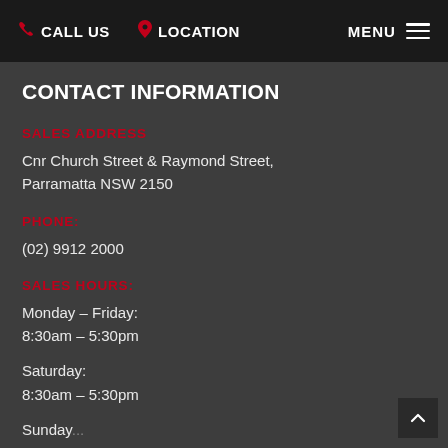CALL US  LOCATION  MENU
CONTACT INFORMATION
SALES ADDRESS
Cnr Church Street & Raymond Street, Parramatta NSW 2150
PHONE:
(02) 9912 2000
SALES HOURS:
Monday - Friday:
8:30am - 5:30pm
Saturday:
8:30am - 5:30pm
Sunday